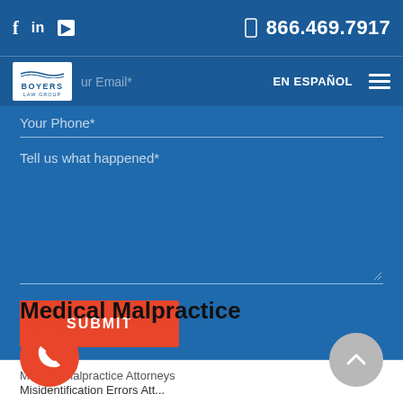f  in  ▶    866.469.7917  |  Boyers Law Group  |  EN ESPAÑOL
[Figure (screenshot): Law firm website contact form on blue background with fields for Last Name, Email, Phone, Tell us what happened, and a SUBMIT button]
Medical Malpractice
Medical Malpractice Attorneys
Misidentification Errors Att...